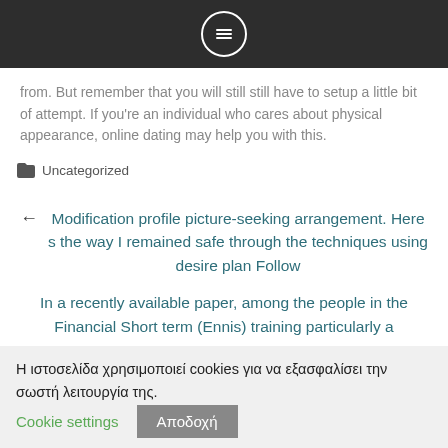from. But remember that you will still still have to setup a little bit of attempt. If you’re an individual who cares about physical appearance, online dating may help you with this.
📂 Uncategorized
← Modification profile picture-seeking arrangement. Here s the way I remained safe through the techniques using desire plan Follow
In a recently available paper, among the people in the Financial Short term (Ennis) training particularly a
Η ιστοσελίδα χρησιμοποιεί cookies για να εξασφαλίσει την σωστή λειτουργία της.
Cookie settings
Αποδοχή